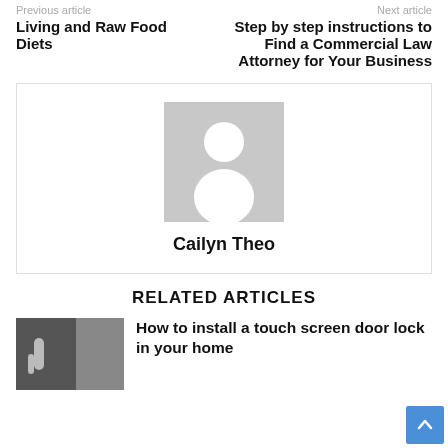Previous article
Next article
Living and Raw Food Diets
Step by step instructions to Find a Commercial Law Attorney for Your Business
[Figure (illustration): Author avatar placeholder — grey square with white silhouette of a person]
Cailyn Theo
RELATED ARTICLES
[Figure (photo): Thumbnail image of a hand using a touch screen door lock]
How to install a touch screen door lock in your home